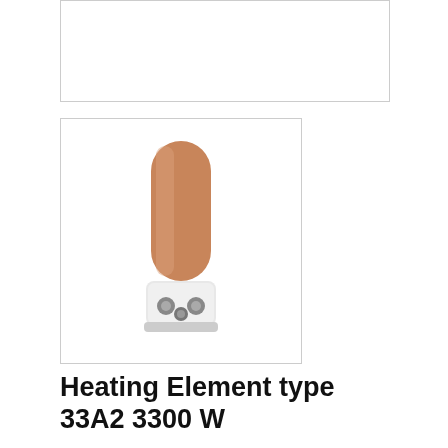[Figure (photo): Top large product image placeholder area (empty white box with border)]
[Figure (photo): Thumbnail image of Heating Element type 33A2 3300W — cylindrical copper/tan element with white ceramic base and metal terminals visible at bottom]
Heating Element type 33A2 3300 W
NZD $129.00 + GST
LE101365
Techspan Heating element type 33A2  3300 W  (LE101365)